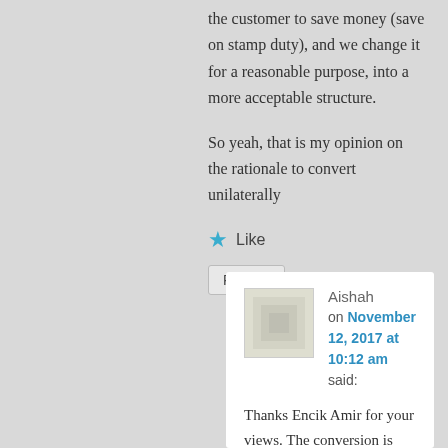the customer to save money (save on stamp duty), and we change it for a reasonable purpose, into a more acceptable structure.
So yeah, that is my opinion on the rationale to convert unilaterally
★ Like
Reply ↓
Aishah
on November 12, 2017 at 10:12 am said:
Thanks Encik Amir for your views. The conversion is unlikely to be unilateral in the sense that the Bank will issue a letter of offer/supplemental letter which will